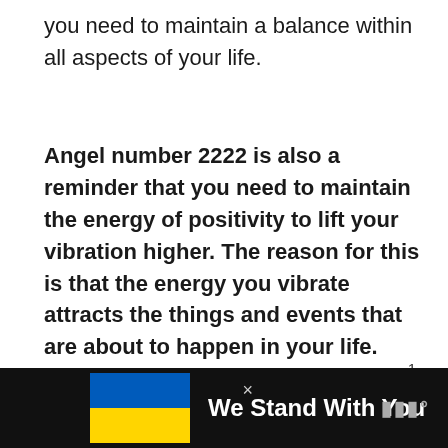you need to maintain a balance within all aspects of your life.
Angel number 2222 is also a reminder that you need to maintain the energy of positivity to lift your vibration higher. The reason for this is that the energy you vibrate attracts the things and events that are about to happen in your life.
[Figure (other): Like button (heart icon) with count 1, and share button, on the right side of the page]
[Figure (other): Advertisement banner at bottom: Ukraine flag colors (blue and yellow), text 'We Stand With You', close button, and media outlet logo on dark background]